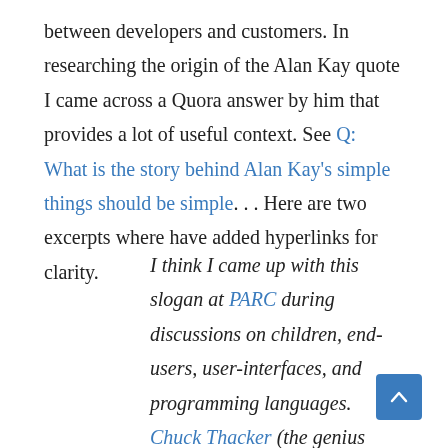between developers and customers. In researching the origin of the Alan Kay quote I came across a Quora answer by him that provides a lot of useful context. See Q: What is the story behind Alan Kay's simple things should be simple. . . Here are two excerpts where have added hyperlinks for clarity.
I think I came up with this slogan at PARC during discussions on children, end-users, user-interfaces, and programming languages. Chuck Thacker (the genius behind the PARC hardware) also liked it and adopted it as a principle for many of his projects